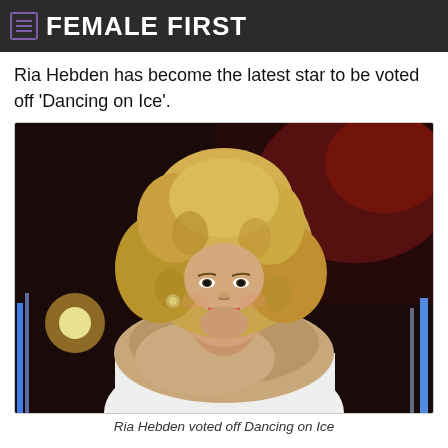FEMALE FIRST
Ria Hebden has become the latest star to be voted off 'Dancing on Ice'.
[Figure (photo): Smiling woman with voluminous curly blonde hair, wearing a white jacket and large wrapped tan scarf, photographed outdoors at night with red and blue lights in the background.]
Ria Hebden voted off Dancing on Ice
The 39-year-old presenter and her professional partner